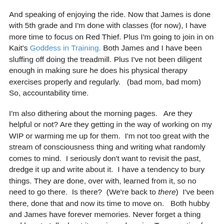And speaking of enjoying the ride. Now that James is done with 5th grade and I'm done with classes (for now), I have more time to focus on Red Thief. Plus I'm going to join in on Kait's Goddess in Training. Both James and I have been sluffing off doing the treadmill. Plus I've not been diligent enough in making sure he does his physical therapy exercises properly and regularly.   (bad mom, bad mom)  So, accountability time.
I'm also dithering about the morning pages.   Are they helpful or not? Are they getting in the way of working on my WIP or warming me up for them.  I'm not too great with the stream of consciousness thing and writing what randomly comes to mind.  I seriously don't want to revisit the past, dredge it up and write about it.  I have a tendency to bury things. They are done, over with, learned from it, so no need to go there.  Is there?  (We're back to there)  I've been there, done that and now its time to move on.   Both hubby and James have forever memories. Never forget a thing and love to talk about it, again and again.  Too negative for me.  I live in the present.   So what to do?   I'm undecided.